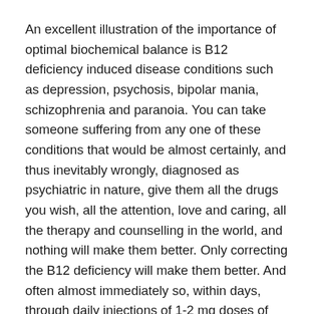An excellent illustration of the importance of optimal biochemical balance is B12 deficiency induced disease conditions such as depression, psychosis, bipolar mania, schizophrenia and paranoia. You can take someone suffering from any one of these conditions that would be almost certainly, and thus inevitably wrongly, diagnosed as psychiatric in nature, give them all the drugs you wish, all the attention, love and caring, all the therapy and counselling in the world, and nothing will make them better. Only correcting the B12 deficiency will make them better. And often almost immediately so, within days, through daily injections of 1-2 mg doses of methyl-cobalamin.
I do not put into question the intentions and sincerity of health writers and bloggers. What I put into question is the